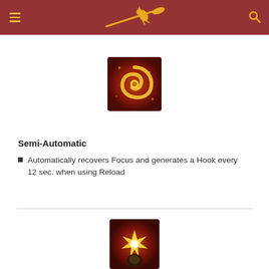[Figure (illustration): Game ability icon: golden spiral/hook symbol on dark red fiery background, circular icon]
Semi-Automatic
Automatically recovers Focus and generates a Hook every 12 sec. when using Reload
[Figure (illustration): Game ability icon: yellow star burst / explosion on dark background, circular icon, partially visible]